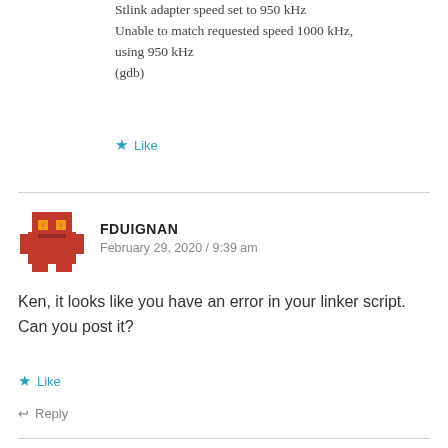Stlink adapter speed set to 950 kHz
Unable to match requested speed 1000 kHz, using 950 kHz
(gdb)
★ Like
FDUIGNAN
February 29, 2020 / 9:39 am
Ken, it looks like you have an error in your linker script. Can you post it?
★ Like
↩ Reply